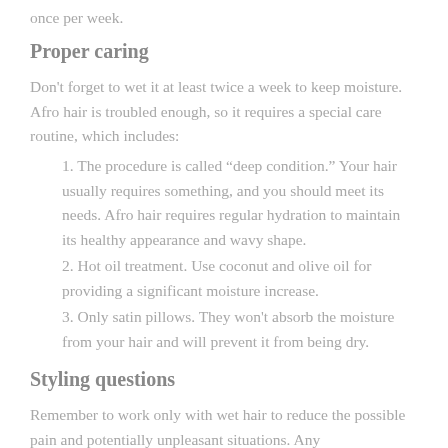once per week.
Proper caring
Don't forget to wet it at least twice a week to keep moisture. Afro hair is troubled enough, so it requires a special care routine, which includes:
1. The procedure is called “deep condition.” Your hair usually requires something, and you should meet its needs. Afro hair requires regular hydration to maintain its healthy appearance and wavy shape.
2. Hot oil treatment. Use coconut and olive oil for providing a significant moisture increase.
3. Only satin pillows. They won't absorb the moisture from your hair and will prevent it from being dry.
Styling questions
Remember to work only with wet hair to reduce the possible pain and potentially unpleasant situations. Any